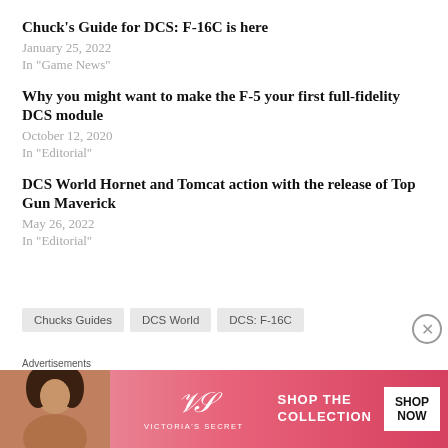Chuck's Guide for DCS: F-16C is here
January 25, 2022
In "Game News"
Why you might want to make the F-5 your first full-fidelity DCS module
October 12, 2020
In "Editorial"
DCS World Hornet and Tomcat action with the release of Top Gun Maverick
May 26, 2022
In "Editorial"
Chucks Guides   DCS World   DCS: F-16C
Advertisements
[Figure (other): Victoria's Secret advertisement banner with model, VS logo, 'SHOP THE COLLECTION' text, and 'SHOP NOW' button]